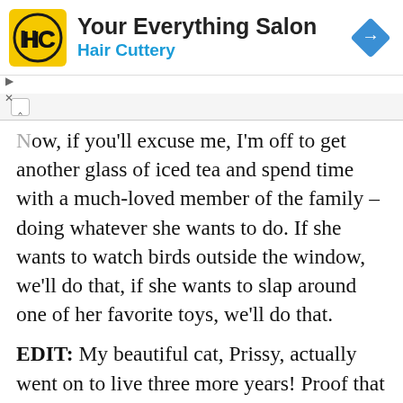[Figure (infographic): Hair Cuttery advertisement banner with yellow/black HC logo, text 'Your Everything Salon' and 'Hair Cuttery' in blue, and a blue diamond navigation icon on the right]
Now, if you'll excuse me, I'm off to get another glass of iced tea and spend time with a much-loved member of the family – doing whatever she wants to do. If she wants to watch birds outside the window, we'll do that, if she wants to slap around one of her favorite toys, we'll do that.
EDIT: My beautiful cat, Prissy, actually went on to live three more years! Proof that tea may be healthier than we ever imagined.  This much-loved cat was notorious in our family for always finding unattended glasses of iced tea and helping